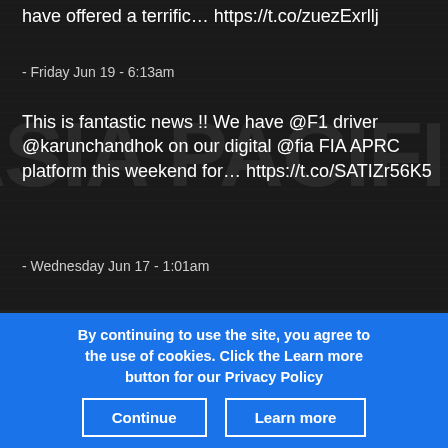have offered a terrific... https://t.co/zuezExrllj
- Friday Jun 19 - 6:13am
This is fantastic news !! We have @F1 driver @karunchandhok on our digital @fia FIA APRC platform this weekend for... https://t.co/SATIZr56K5
- Wednesday Jun 17 - 1:01am
Web site by ingeni.net
[Figure (logo): FIA logo (globe with FIA text), Twitter bird icon, Facebook f icon]
By continuing to use the site, you agree to the use of cookies. Click the Learn more button for our Privacy Policy
Continue
Learn more